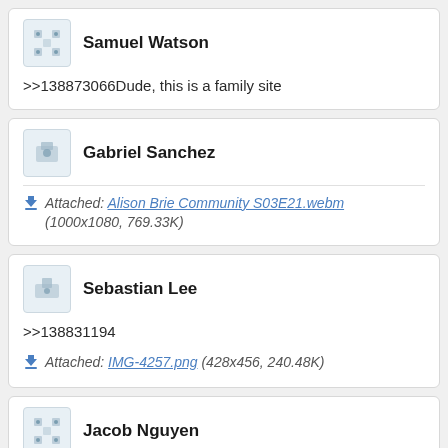Samuel Watson
>>138873066Dude, this is a family site
Gabriel Sanchez
Attached: Alison Brie Community S03E21.webm (1000x1080, 769.33K)
Sebastian Lee
>>138831194
Attached: IMG-4257.png (428x456, 240.48K)
Jacob Nguyen
>>138832050That's the whole premise of the show nigga